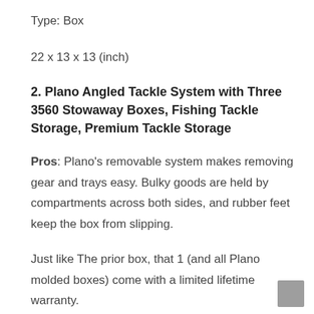Type: Box
22 x 13 x 13 (inch)
2. Plano Angled Tackle System with Three 3560 Stowaway Boxes, Fishing Tackle Storage, Premium Tackle Storage
Pros: Plano’s removable system makes removing gear and trays easy. Bulky goods are held by compartments across both sides, and rubber feet keep the box from slipping.
Just like The prior box, that 1 (and all Plano molded boxes) come with a limited lifetime warranty.